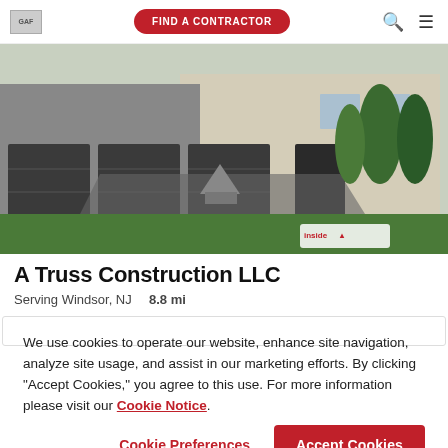GAF | FIND A CONTRACTOR
[Figure (photo): Exterior photo of a large luxury home with dark garage doors, stone facade, and landscaped front yard with trees and circular driveway.]
A Truss Construction LLC
Serving Windsor, NJ   8.8 mi
We use cookies to operate our website, enhance site navigation, analyze site usage, and assist in our marketing efforts. By clicking "Accept Cookies," you agree to this use. For more information please visit our Cookie Notice.
Cookie Preferences | Accept Cookies